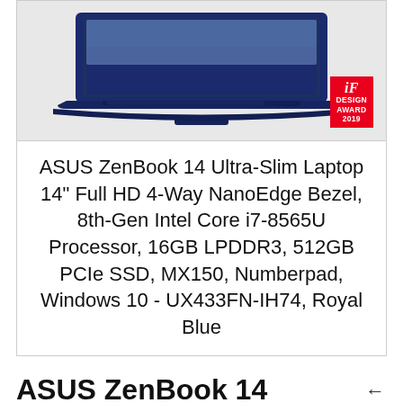[Figure (photo): ASUS ZenBook 14 laptop in Royal Blue color, viewed from above showing the keyboard and screen, against a light gray background. An iF Design Award 2019 badge is shown in the bottom-right corner of the image.]
ASUS ZenBook 14 Ultra-Slim Laptop 14" Full HD 4-Way NanoEdge Bezel, 8th-Gen Intel Core i7-8565U Processor, 16GB LPDDR3, 512GB PCIe SSD, MX150, Numberpad, Windows 10 - UX433FN-IH74, Royal Blue
ASUS ZenBook 14 Ultra-Slim Laptop 14" Full HD 4-Way